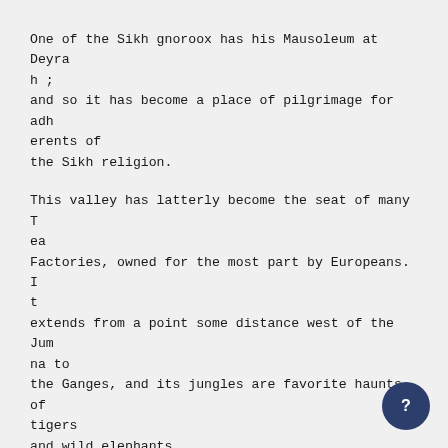One of the Sikh gnoroox has his Mausoleum at Deyrah ; and so it has become a place of pilgrimage for adherents of the Sikh religion.
This valley has latterly become the seat of many Tea Factories, owned for the most part by Europeans. It extends from a point some distance west of the Jumna to the Ganges, and its jungles are favorite haunts of tigers and wild elephants.
The Dejrah district contains a population of 144,000.
\_Uoorki'e, 18 miles east by south from Suharunpore, and,